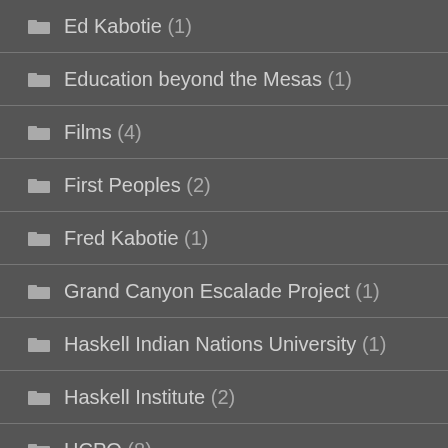Ed Kabotie (1)
Education beyond the Mesas (1)
Films (4)
First Peoples (2)
Fred Kabotie (1)
Grand Canyon Escalade Project (1)
Haskell Indian Nations University (1)
Haskell Institute (2)
HCPO (8)